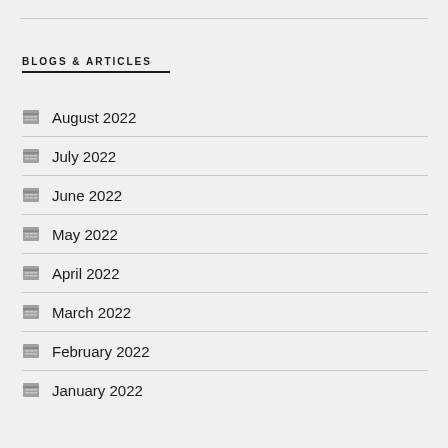BLOGS & ARTICLES
August 2022
July 2022
June 2022
May 2022
April 2022
March 2022
February 2022
January 2022